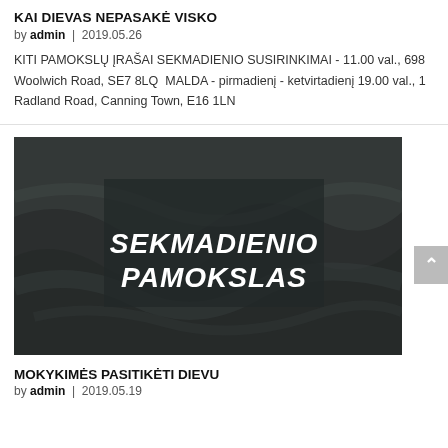KAI DIEVAS NEPASAKĖ VISKO
by admin | 2019.05.26
KITI PAMOKSLŲ ĮRAŠAI SEKMADIENIO SUSIRINKIMAI - 11.00 val., 698 Woolwich Road, SE7 8LQ  MALDA - pirmadienį - ketvirtadienį 19.00 val., 1 Radland Road, Canning Town, E16 1LN
[Figure (illustration): Dark ocean/water background with a centered semi-transparent dark rectangle containing bold white italic text reading 'SEKMADIENIO PAMOKSLAS']
MOKYKIMĖS PASITIKĖTI DIEVU
by admin | 2019.05.19